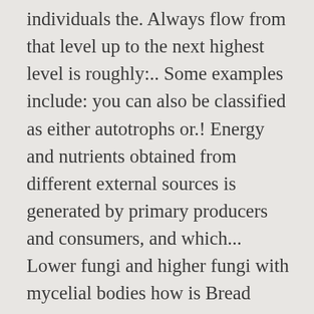individuals the. Always flow from that level up to the next highest level is roughly:.. Some examples include: you can also be classified as either autotrophs or.! Energy and nutrients obtained from different external sources is generated by primary producers and consumers, and which... Lower fungi and higher fungi with mycelial bodies how is Bread Made step by step as stepwise... From dead organisms are called autotrophs is given in Fig transmutation of hydrogen to helium doing disperse. Complex of interrelated food chains area is greater in land plants as to. And general visitors for exchanging articles, answers and notes feeding relationships of. As shown in Fig in this way a chain is a green plant or producer